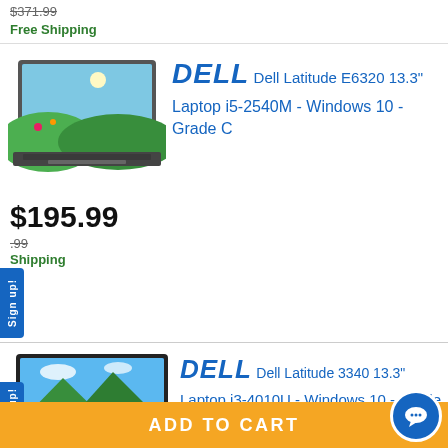$371.99
Free Shipping
[Figure (photo): Dell Latitude E6320 laptop open showing desktop wallpaper with nature scene]
DELL Dell Latitude E6320 13.3" Laptop i5-2540M - Windows 10 - Grade C
$195.99
.99
Shipping
[Figure (photo): Dell Latitude 3340 laptop open showing desktop wallpaper with mountain landscape]
DELL Dell Latitude 3340 13.3" Laptop i3-4010U - Windows 10 - Grade B
ADD TO CART